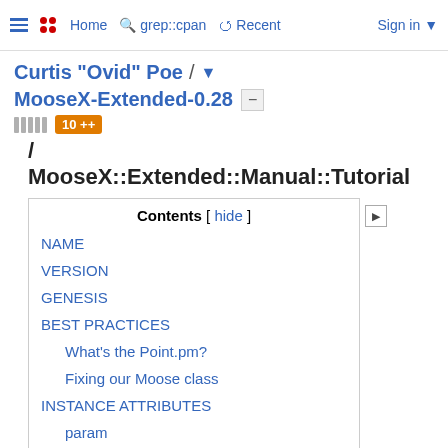Home  grep::cpan  Recent  Sign in
Curtis "Ovid" Poe / ▾ MooseX-Extended-0.28
10 ++
/ MooseX::Extended::Manual::Tutorial
Contents [ hide ]
NAME
VERSION
GENESIS
BEST PRACTICES
What's the Point.pm?
Fixing our Moose class
INSTANCE ATTRIBUTES
param
field
Attribute shortcuts
EXCLUDING FEATURES